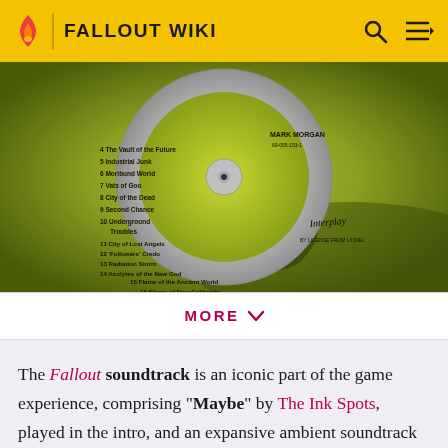FALLOUT WIKI
[Figure (photo): Fallout soundtrack CD label showing Mark Morgan as composer with track listing including: 4 The Vault of the Future, 5 Industrial Junk, 6 Moribund World, 7 Vats of Goo, 8 City of the Dead, 9 Second Chance, 10 Underground Troubles, 11 City of Lost Angels, 12 Followers' Credo, 13 Radiation Storm, 14 Acolytes of the New God, 15 Flame of the Ancient World, 16 Khans of New California. Interplay logo visible on the right side.]
MORE
The Fallout soundtrack is an iconic part of the game experience, comprising "Maybe" by The Ink Spots, played in the intro, and an expansive ambient soundtrack composed by Mark Morgan.